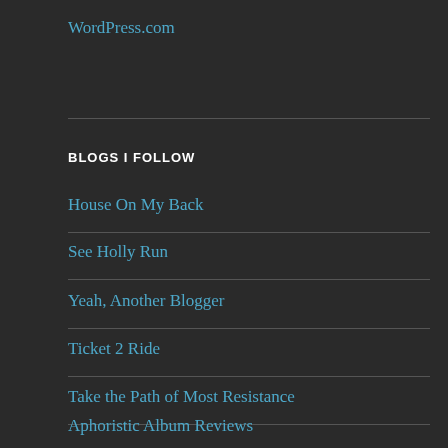WordPress.com
BLOGS I FOLLOW
House On My Back
See Holly Run
Yeah, Another Blogger
Ticket 2 Ride
Take the Path of Most Resistance
Aphoristic Album Reviews